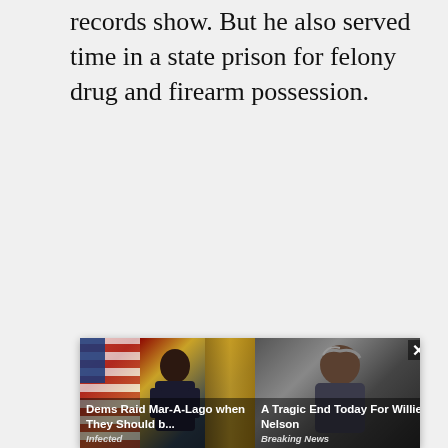records show. But he also served time in a state prison for felony drug and firearm possession.
[Figure (other): Advertisement banner with two ad cards: (1) 'Dems Raid Mar-A-Lago when They Should b...' from 'Infected' showing a man in an official setting with US flag, (2) 'A Tragic End Today For Willie Nelson' from 'Breaking News' showing an elderly man outdoors. A close button (×) appears in the top right corner of the banner.]